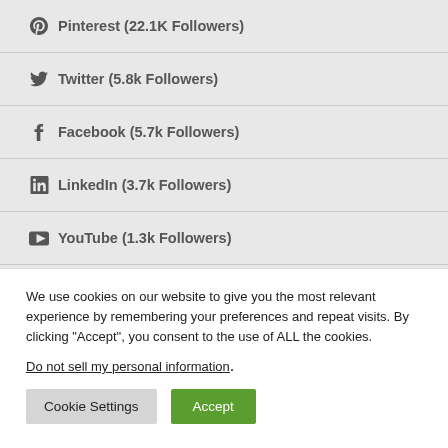Pinterest (22.1K Followers)
Twitter (5.8k Followers)
Facebook (5.7k Followers)
LinkedIn (3.7k Followers)
YouTube (1.3k Followers)
GitHub (Repository)
We use cookies on our website to give you the most relevant experience by remembering your preferences and repeat visits. By clicking “Accept”, you consent to the use of ALL the cookies.
Do not sell my personal information.